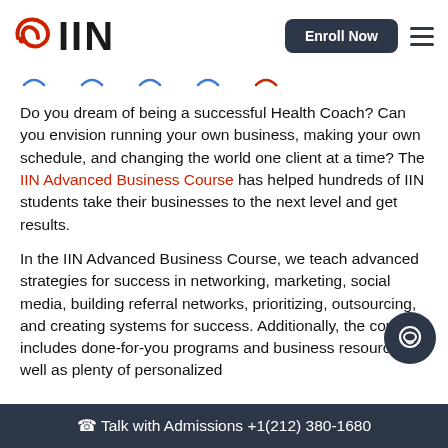[Figure (logo): IIN logo with red spiral icon and bold IIN text]
Do you dream of being a successful Health Coach? Can you envision running your own business, making your own schedule, and changing the world one client at a time? The IIN Advanced Business Course has helped hundreds of IIN students take their businesses to the next level and get results.
In the IIN Advanced Business Course, we teach advanced strategies for success in networking, marketing, social media, building referral networks, prioritizing, outsourcing, and creating systems for success. Additionally, the course includes done-for-you programs and business resources as well as plenty of personalized
Talk with Admissions +1(212) 380-1680